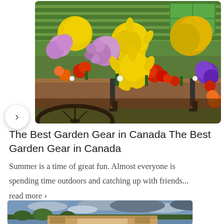[Figure (photo): A colorful floral display in a wooden wagon or planter box, showing yellow, purple, red, and orange chrysanthemums and other flowers against a green barn wall background. A bicycle wheel is visible at the bottom.]
The Best Garden Gear in Canada The Best Garden Gear in Canada
Summer is a time of great fun. Almost everyone is spending time outdoors and catching up with friends...
read more >
[Figure (photo): A store building exterior with cloudy sky and trees in the foreground, partial view of what appears to be a garden center or retail store.]